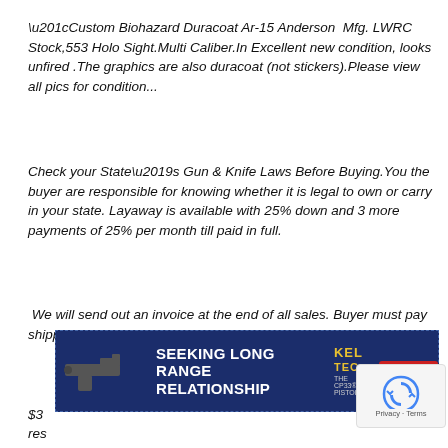“Custom Biohazard Duracoat Ar-15 Anderson Mfg. LWRC Stock,553 Holo Sight.Multi Caliber.In Excellent new condition, looks unfired .The graphics are also duracoat (not stickers).Please view all pics for condition...
Check your State’s Gun & Knife Laws Before Buying.You the buyer are responsible for knowing whether it is legal to own or carry in your state. Layaway is available with 25% down and 3 more payments of 25% per month till paid in full.
We will send out an invoice at the end of all sales. Buyer must pay shipping & handling fees.We do not use Gunbroker checkout......
[Figure (other): Advertisement banner for Kel-Tec CP33 pistol reading SEEKING LONG RANGE RELATIONSHIP with Buy Now button]
[Figure (other): reCAPTCHA badge with Privacy and Terms text]
$3... res... or